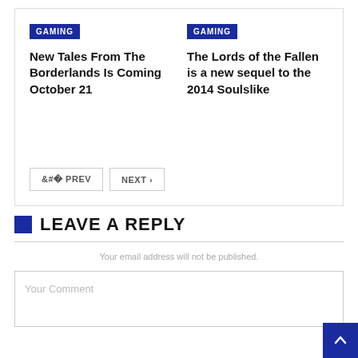GAMING
New Tales From The Borderlands Is Coming October 21
GAMING
The Lords of the Fallen is a new sequel to the 2014 Soulslike
< PREV  NEXT >
LEAVE A REPLY
Your email address will not be published.
Your Comment